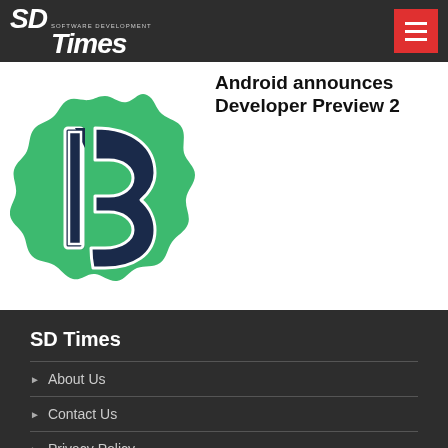SD Times — Software Development
[Figure (illustration): Android 13 green badge logo with the number 13 in dark navy outlined font on a green scalloped circle badge]
Android announces Developer Preview 2
SD Times
About Us
Contact Us
Privacy Policy